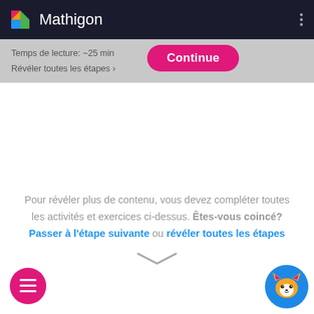Mathigon
Temps de lecture: ~25 min
Révéler toutes les étapes ›
Continue
Pour révéler plus de contenu, vous devez compléter toutes les activités et exercices ci-dessus. Êtes-vous coincé? Passer à l'étape suivante ou révéler toutes les étapes